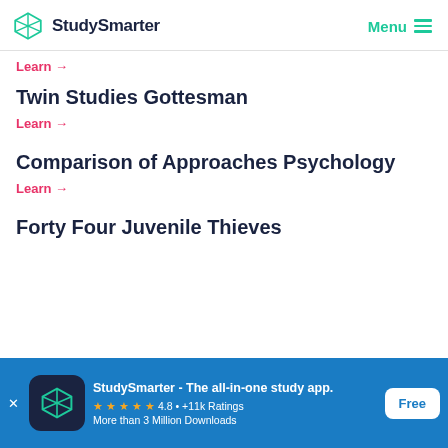StudySmarter   Menu
Learn →
Twin Studies Gottesman
Learn →
Comparison of Approaches Psychology
Learn →
Forty Four Juvenile Thieves
StudySmarter - The all-in-one study app. ★★★★★ 4.8 • +11k Ratings More than 3 Million Downloads   Free